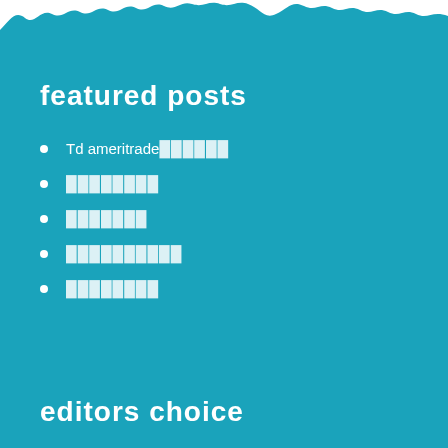[Figure (illustration): Teal/blue wavy background with decorative white wave cutout at the top edge]
featured posts
Td ameritrade██████
████████
███████
██████████
████████
editors choice